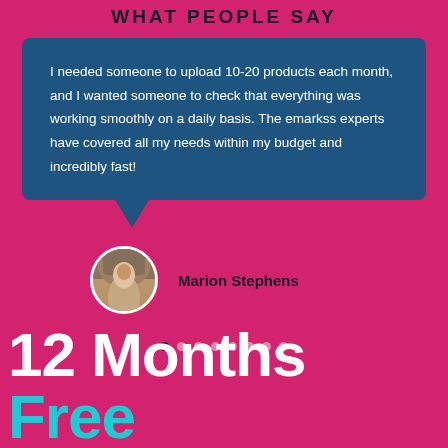WHAT PEOPLE SAY
I needed someone to upload 10-20 products each month, and I wanted someone to check that everything was working smoothly on a daily basis. The emarkss experts have covered all my needs within my budget and incredibly fast!
Marion Stephens
[Figure (other): Carousel navigation dots, 8 dots total, first dot is dark/active, rest are semi-transparent white]
12 Months FREE